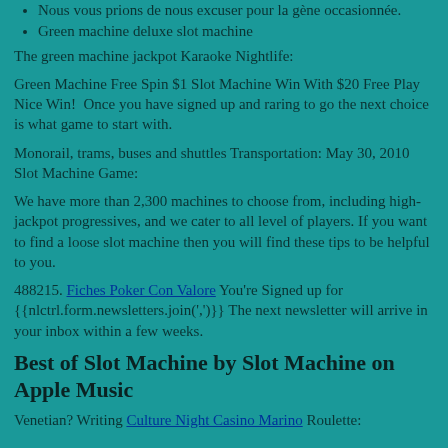Nous vous prions de nous excuser pour la gène occasionnée.
Green machine deluxe slot machine
The green machine jackpot Karaoke Nightlife:
Green Machine Free Spin $1 Slot Machine Win With $20 Free Play Nice Win!  Once you have signed up and raring to go the next choice is what game to start with.
Monorail, trams, buses and shuttles Transportation: May 30, 2010 Slot Machine Game:
We have more than 2,300 machines to choose from, including high-jackpot progressives, and we cater to all level of players. If you want to find a loose slot machine then you will find these tips to be helpful to you.
488215. Fiches Poker Con Valore You're Signed up for {{nlctrl.form.newsletters.join(',')}} The next newsletter will arrive in your inbox within a few weeks.
Best of Slot Machine by Slot Machine on Apple Music
Venetian? Writing Culture Night Casino Marino Roulette: